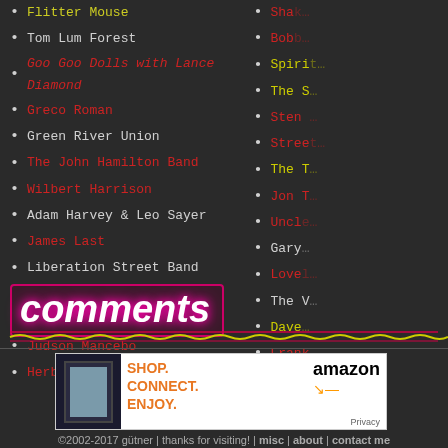Flitter Mouse
Tom Lum Forest
Goo Goo Dolls with Lance Diamond
Greco Roman
Green River Union
The John Hamilton Band
Wilbert Harrison
Adam Harvey & Leo Sayer
James Last
Liberation Street Band
Love Seed Mama Jump
Miriam Makeba
Judson Mancebo
Herbie Mann
[Figure (screenshot): comments section header with pink glow text and squiggly decorative line]
[Figure (screenshot): Amazon advertisement: SHOP. CONNECT. ENJOY. with Kindle device image and amazon logo]
©2002-2017 gütner | thanks for visiting! | misc | about | contact me